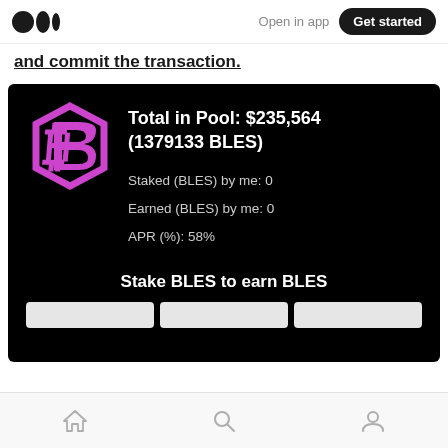Medium logo | Open in app | Get started
and commit the transaction.
[Figure (screenshot): Mobile app screenshot showing BLES token staking pool dashboard on black background. Displays a pink hexagonal logo, Total in Pool: $235,564 (1379133 BLES), Staked (BLES) by me: 0, Earned (BLES) by me: 0, APR (%): 58%, and 'Stake BLES to earn BLES' label at the bottom with three button placeholders.]
Home | Search | Profile